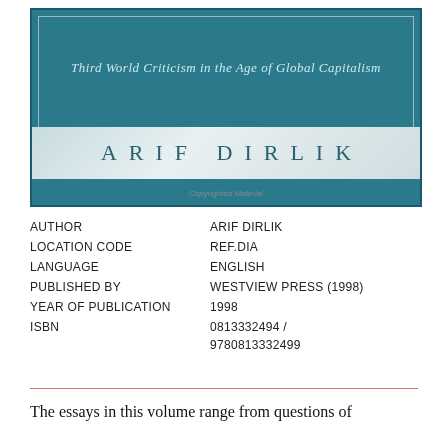[Figure (illustration): Book cover for 'Third World Criticism in the Age of Global Capitalism' by Arif Dirlik. Teal/blue-green background with italic subtitle text and author name in spaced letters on a light textured band. 'Copyrighted Material' watermark at bottom.]
| AUTHOR | ARIF DIRLIK |
| LOCATION CODE | REF.DIA |
| LANGUAGE | ENGLISH |
| PUBLISHED BY | WESTVIEW PRESS (1998) |
| YEAR OF PUBLICATION | 1998 |
| ISBN | 0813332494 / 9780813332499 |
The essays in this volume range from questions of